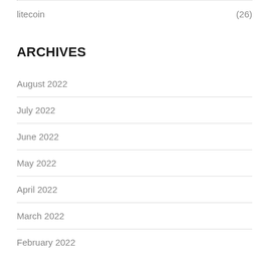litecoin (26)
ARCHIVES
August 2022
July 2022
June 2022
May 2022
April 2022
March 2022
February 2022